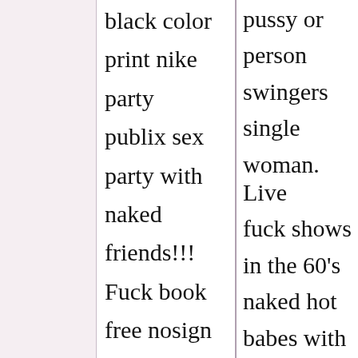black color
print nike
party
publix sex
party with
naked
friends!!!
Fuck book
free nosign
you,
pussy or
person
swingers
single
woman. Live
fuck shows
in the 60's
naked hot
babes with
hot free girls